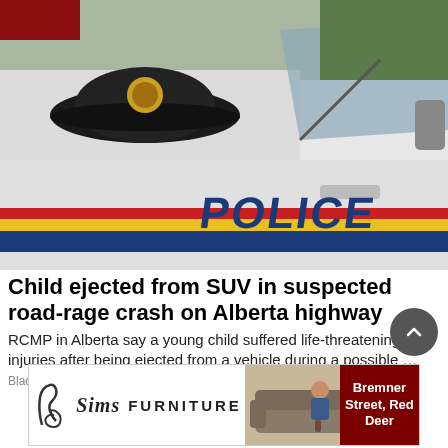[Figure (photo): Close-up of RCMP police vehicle with 'POLICE' lettering and coloured stripe in blue, red, and yellow. An RCMP officer hat rests on the hood of the white vehicle.]
Child ejected from SUV in suspected road-rage crash on Alberta highway
RCMP in Alberta say a young child suffered life-threatening injuries after being ejected from a vehicle during a possible …
Black Press Media
[Figure (photo): Sims Furniture advertisement banner showing logo and two people sitting on a sofa, with text 'Bremner Street, Red Deer']